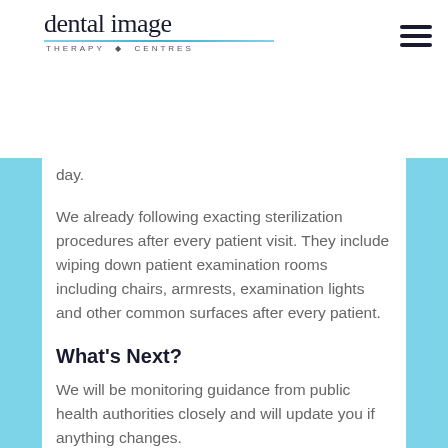[Figure (logo): Dental Image Therapy Centres logo with stylized text and decorative line]
day.
We already following exacting sterilization procedures after every patient visit. They include wiping down patient examination rooms including chairs, armrests, examination lights and other common surfaces after every patient.
What’s Next?
We will be monitoring guidance from public health authorities closely and will update you if anything changes.
In the meantime, we remind you that the best way to prevent the spread of COVID-19 is to wash your hands regularly and avoid touching your face.